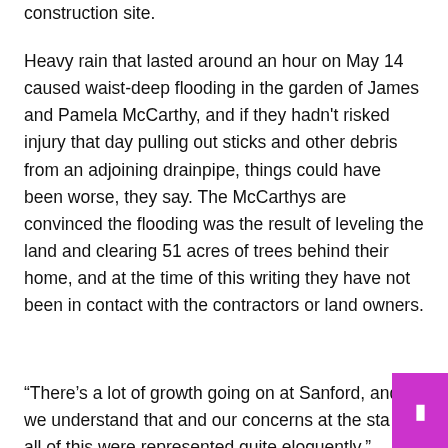construction site.
Heavy rain that lasted around an hour on May 14 caused waist-deep flooding in the garden of James and Pamela McCarthy, and if they hadn't risked injury that day pulling out sticks and other debris from an adjoining drainpipe, things could have been worse, they say. The McCarthys are convinced the flooding was the result of leveling the land and clearing 51 acres of trees behind their home, and at the time of this writing they have not been in contact with the contractors or land owners.
“There’s a lot of growth going on at Sanford, and we understand that and our concerns at the sta of all of this were represented quite eloquently,”